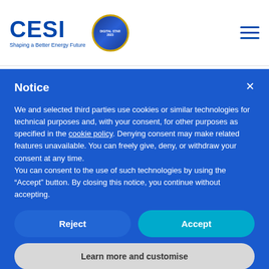CESI – Shaping a Better Energy Future
Notice
We and selected third parties use cookies or similar technologies for technical purposes and, with your consent, for other purposes as specified in the cookie policy. Denying consent may make related features unavailable. You can freely give, deny, or withdraw your consent at any time.
You can consent to the use of such technologies by using the "Accept" button. By closing this notice, you continue without accepting.
Reject
Accept
Learn more and customise